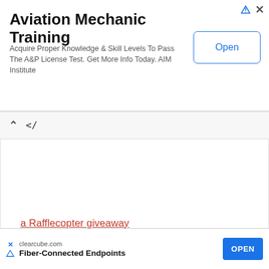[Figure (screenshot): Top advertisement banner for Aviation Mechanic Training by AIM Institute with an Open button]
Aviation Mechanic Training
Acquire Proper Knowledge & Skill Levels To Pass The A&P License Test. Get More Info Today. AIM Institute
[Figure (screenshot): Navigation bar with up arrow and angle bracket symbol]
a Rafflecopter giveaway
Sharing is caring!
[Figure (screenshot): Bottom advertisement banner for clearcube.com Fiber-Connected Endpoints with an OPEN button]